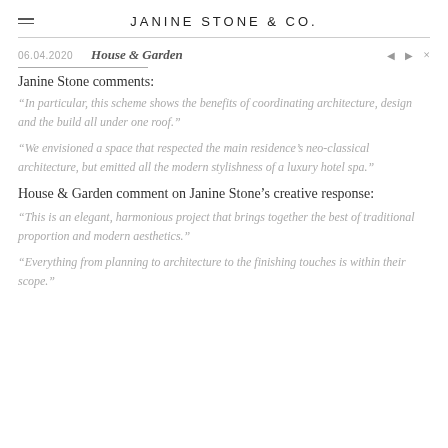JANINE STONE & CO.
06.04.2020   House & Garden
Janine Stone comments:
“In particular, this scheme shows the benefits of coordinating architecture, design and the build all under one roof.”
“We envisioned a space that respected the main residence’s neo-classical architecture, but emitted all the modern stylishness of a luxury hotel spa.”
House & Garden comment on Janine Stone’s creative response:
“This is an elegant, harmonious project that brings together the best of traditional proportion and modern aesthetics.”
“Everything from planning to architecture to the finishing touches is within their scope.”